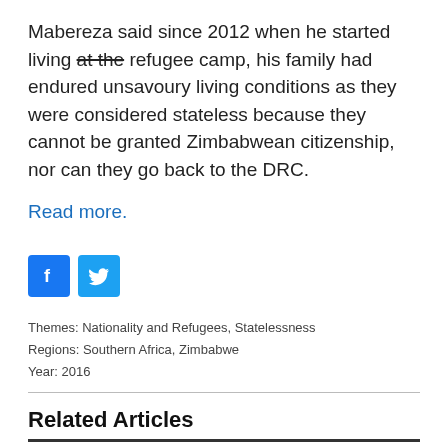Mabereza said since 2012 when he started living at the refugee camp, his family had endured unsavoury living conditions as they were considered stateless because they cannot be granted Zimbabwean citizenship, nor can they go back to the DRC.
Read more.
[Figure (infographic): Facebook and Twitter social sharing icons]
Themes: Nationality and Refugees, Statelessness
Regions: Southern Africa, Zimbabwe
Year: 2016
Related Articles
Zimbos engage Ramaphosa's deputy over permits